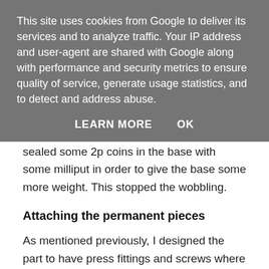This site uses cookies from Google to deliver its services and to analyze traffic. Your IP address and user-agent are shared with Google along with performance and security metrics to ensure quality of service, generate usage statistics, and to detect and address abuse.
LEARN MORE    OK
sealed some 2p coins in the base with some milliput in order to give the base some more weight. This stopped the wobbling.
Attaching the permanent pieces
As mentioned previously, I designed the part to have press fittings and screws where possible so it would be easy to disassemble if needed (for instance if a servo stopped working). However a few parts did need to be permanently attached to one another. That was the SLEB housing and theains that connect to d